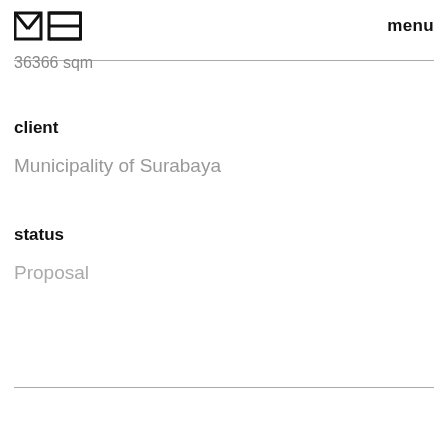MJES | menu
36366 sqm
client
Municipality of Surabaya
status
Proposal